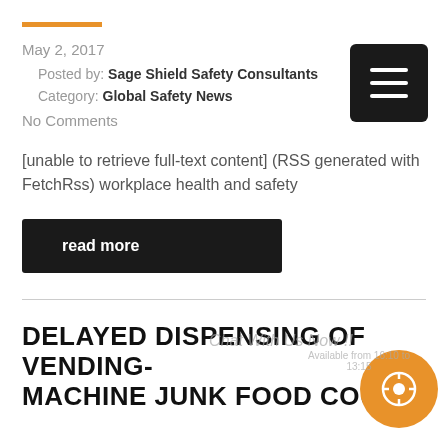May 2, 2017
Posted by: Sage Shield Safety Consultants
Category: Global Safety News
No Comments
[unable to retrieve full-text content] (RSS generated with FetchRss) workplace health and safety
read more
DELAYED DISPENSING OF VENDING-MACHINE JUNK FOOD COULD